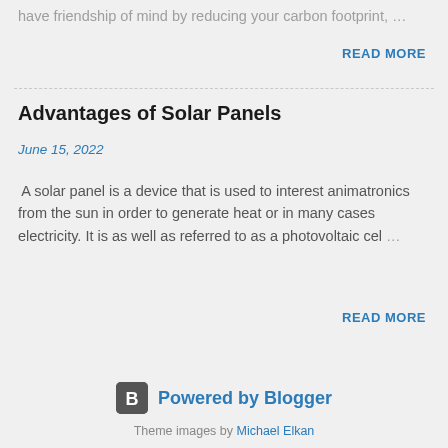have friendship of mind by reducing your carbon footprint, …
READ MORE
Advantages of Solar Panels
June 15, 2022
A solar panel is a device that is used to interest animatronics from the sun in order to generate heat or in many cases electricity. It is as well as referred to as a photovoltaic cel …
READ MORE
[Figure (logo): Blogger logo icon — square with rounded corners and a B letter in white]
Powered by Blogger
Theme images by Michael Elkan